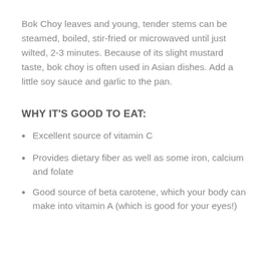Bok Choy leaves and young, tender stems can be steamed, boiled, stir-fried or microwaved until just wilted, 2-3 minutes. Because of its slight mustard taste, bok choy is often used in Asian dishes. Add a little soy sauce and garlic to the pan.
WHY IT'S GOOD TO EAT:
Excellent source of vitamin C
Provides dietary fiber as well as some iron, calcium and folate
Good source of beta carotene, which your body can make into vitamin A (which is good for your eyes!)